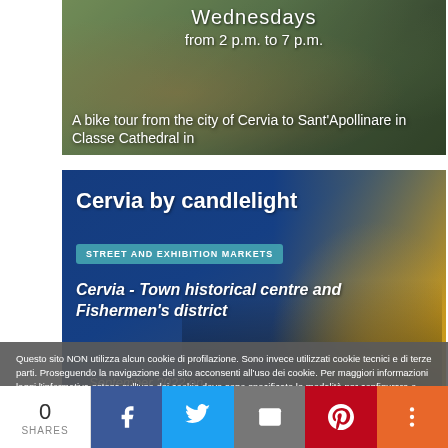[Figure (photo): Mountain bikers riding on a dirt trail, partially visible at top; white text overlay shows 'Wednesdays', 'from 2 p.m. to 7 p.m.' and 'A bike tour from the city of Cervia to Sant'Apollinare in Classe Cathedral in']
Wednesdays
from 2 p.m. to 7 p.m.
A bike tour from the city of Cervia to Sant'Apollinare in Classe Cathedral in
[Figure (photo): Dark blue and golden yellow background with silhouettes; card titled 'Cervia by candlelight' with badge 'STREET AND EXHIBITION MARKETS' and subtitle 'Cervia - Town historical centre and Fishermen's district']
Cervia by candlelight
STREET AND EXHIBITION MARKETS
Cervia - Town historical centre and Fishermen's district
Questo sito NON utilizza alcun cookie di profilazione. Sono invece utilizzati cookie tecnici e di terze parti. Proseguendo la navigazione del sito acconsenti all'uso dei cookie. Per maggiori informazioni leggi l'informativa estesa sull'uso dei cookie dove sono specificate le modalità per configurare o disattivare i cookie. More information
0 SHARES
Facebook share button
Twitter share button
Email share button
Pinterest share button
More share options